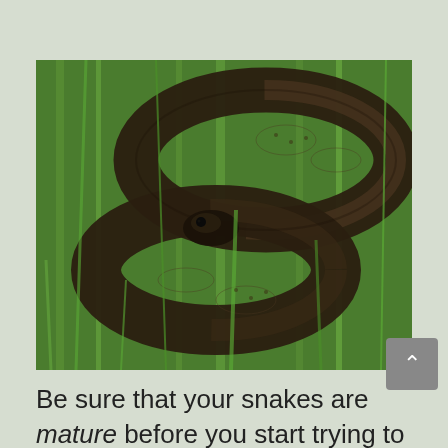[Figure (photo): Close-up photograph of a dark brown/black snake coiled among green grass blades. The snake's scales are visible and its head is visible in the center-left of the image.]
Be sure that your snakes are mature before you start trying to breed them.